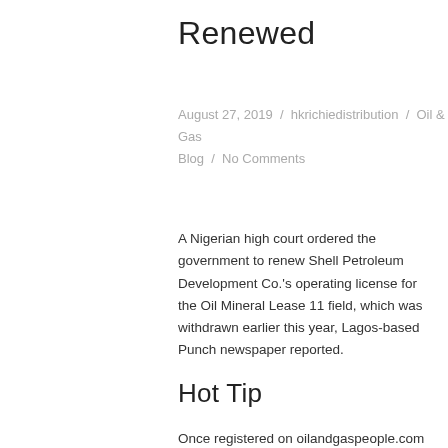Renewed
August 27, 2019 / hkrichiedistribution / Oil & Gas Blog / No Comments
A Nigerian high court ordered the government to renew Shell Petroleum Development Co.'s operating license for the Oil Mineral Lease 11 field, which was withdrawn earlier this year, Lagos-based Punch newspaper reported.
Hot Tip
Once registered on oilandgaspeople.com as a candidate be sure to build a detailed profile. Other job sites save you time by scraping your CV into one database field but our structured database makes it much easier for recruiters to search and find you. Better for candidates.. Better for